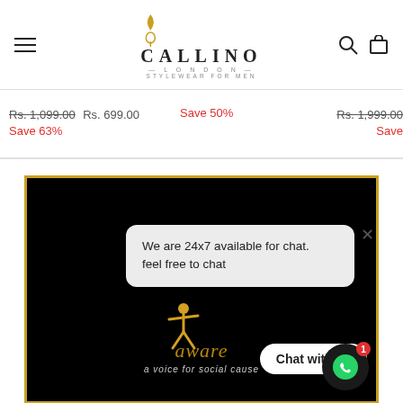CALLINO LONDON - STYLEWEAR FOR MEN
Rs. 1,099.00  Rs. 699.00  Save 63%  |  Save 50%  |  Rs. 1,999.00  Save
[Figure (screenshot): Awarekiya awareness organization black banner with gold border, chat popup overlay saying 'We are 24x7 available for chat. feel free to chat', Chat with us button, and WhatsApp icon with notification badge of 1]